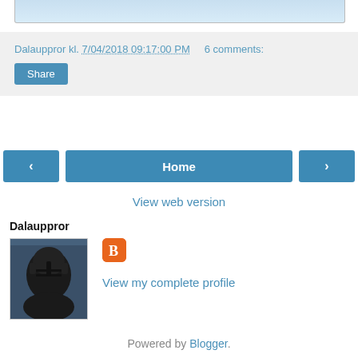[Figure (photo): Top portion of a blog post image, partially visible, showing a light blue sky background]
Dalauppror kl. 7/04/2018 09:17:00 PM   6 comments:
Share
Home
View web version
Dalauppror
[Figure (photo): Profile photo showing a person wearing a dark medieval helmet/mask]
[Figure (logo): Blogger orange B logo icon]
View my complete profile
Powered by Blogger.